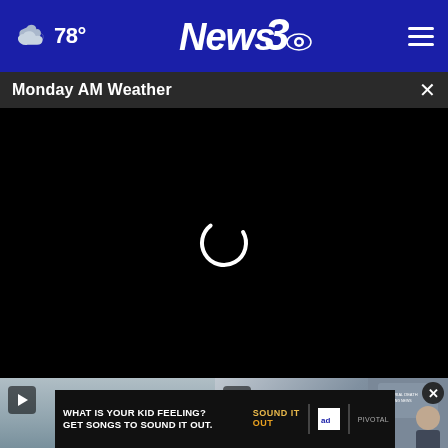☁ 78° News3 [menu]
Monday AM Weather
[Figure (screenshot): Black video player area with circular loading spinner (white arc) in the center, showing a loading state for a news video segment titled Monday AM Weather]
[Figure (screenshot): Two video thumbnail images side by side at the bottom. Left thumbnail shows a metallic/sky background with a play button. Right thumbnail shows a weather map with a close X button overlay.]
[Figure (screenshot): Advertisement banner reading: WHAT IS YOUR KID FEELING? GET SONGS TO SOUND IT OUT. with SOUND IT OUT logo, ad council logo, and pivotal logo]